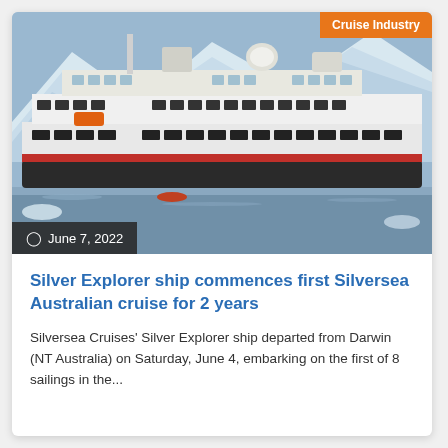[Figure (photo): A large white cruise ship (Silver Explorer) sailing in icy Antarctic waters with snow-covered mountains in the background. The ship has multiple decks, red-and-black hull markings, and various antennae and satellite dishes on top.]
Cruise Industry
June 7, 2022
Silver Explorer ship commences first Silversea Australian cruise for 2 years
Silversea Cruises' Silver Explorer ship departed from Darwin (NT Australia) on Saturday, June 4, embarking on the first of 8 sailings in the...